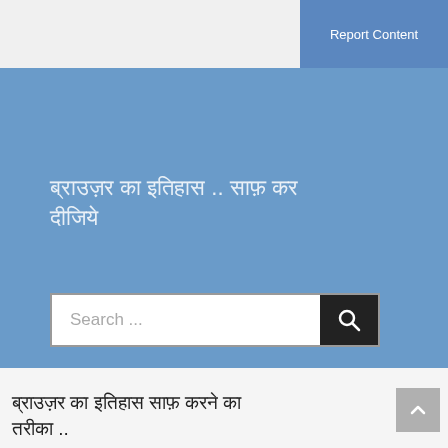Report Content
ब्राउज़र का इतिहास .. साफ़ कर दीजिये
[Figure (screenshot): Search bar with text 'Search ...' and a dark search button with magnifying glass icon]
ब्राउज़र का इतिहास साफ़ करने का तरीका ..